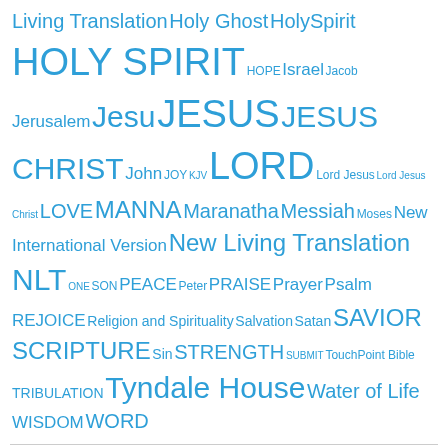[Figure (other): Tag cloud with religious and biblical terms in various sizes, all in blue color. Terms include: Living Translation, Holy Ghost, HolySpirit, HOLY SPIRIT, HOPE, Israel, Jacob, Jerusalem, Jesu, JESUS, JESUS CHRIST, John, JOY, KJV, LORD, Lord Jesus, Lord Jesus Christ, LOVE, MANNA, Maranatha, Messiah, Moses, New International Version, New Living Translation, NLT, ONE, SON, PEACE, Peter, PRAISE, Prayer, Psalm, REJOICE, Religion and Spirituality, Salvation, Satan, SAVIOR, SCRIPTURE, Sin, STRENGTH, SUBMIT, TouchPoint Bible, TRIBULATION, Tyndale House, Water of Life, WISDOM, WORD]
Daily Manna
RT @Franklin_Graham: “Repent therefore, and turn back, that your sins may be blotted out, that times of refreshing may come from the presen… Be A Berean Act 17:11 1 minute ago